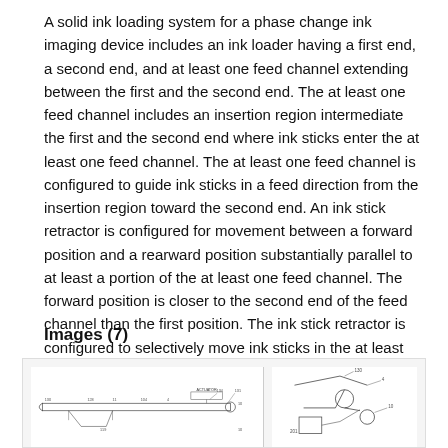A solid ink loading system for a phase change ink imaging device includes an ink loader having a first end, a second end, and at least one feed channel extending between the first and the second end. The at least one feed channel includes an insertion region intermediate the first and the second end where ink sticks enter the at least one feed channel. The at least one feed channel is configured to guide ink sticks in a feed direction from the insertion region toward the second end. An ink stick retractor is configured for movement between a forward position and a rearward position substantially parallel to at least a portion of the at least one feed channel. The forward position is closer to the second end of the feed channel than the first position. The ink stick retractor is configured to selectively move ink sticks in the at least one feed channel in a retraction direction toward the first end.
Images (7)
[Figure (engineering-diagram): Patent engineering diagram showing a schematic cross-section of a solid ink loading mechanism with labeled components and feed channel structure.]
[Figure (engineering-diagram): Patent engineering diagram showing another view of the ink stick mechanism with annotated parts.]